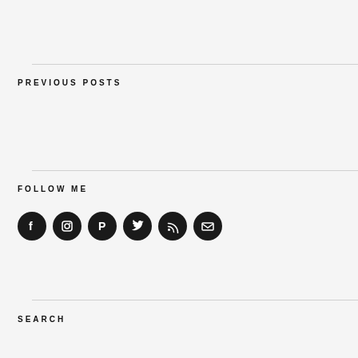PREVIOUS POSTS
FOLLOW ME
[Figure (infographic): Six social media icon circles in black: Facebook, Instagram, Pinterest, Twitter, RSS, Email]
SEARCH